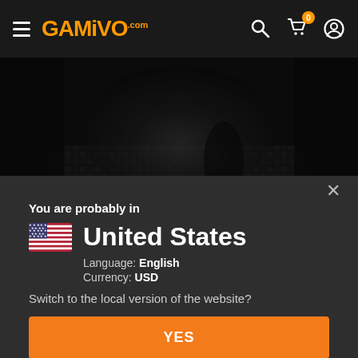GAMIVO.COM navigation header with hamburger menu, logo, search, cart (0), and user icon
[Figure (photo): Dark grayscale corridor/tunnel scene with cobblestone floor and checkered walls — game promotional background]
You are probably in
United States
Language: English
Currency: USD
Switch to the local version of the website?
YES